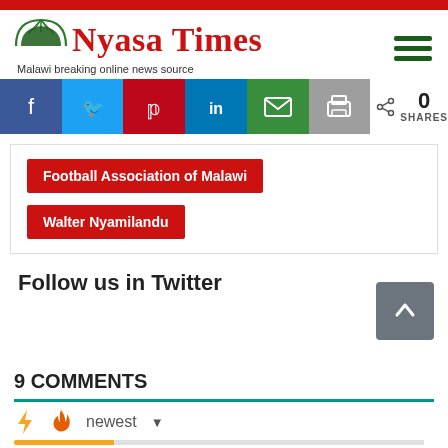[Figure (logo): Nyasa Times logo with arch/dome graphic and tagline 'Malawi breaking online news source']
[Figure (infographic): Social share bar with Facebook, Twitter, Pinterest, LinkedIn, Email, Print buttons and 0 SHARES count]
Football Association of Malawi   Walter Nyamilandu
Follow us in Twitter
[Figure (infographic): Back to top button (caret/chevron up arrow on grey square)]
9 COMMENTS
newest